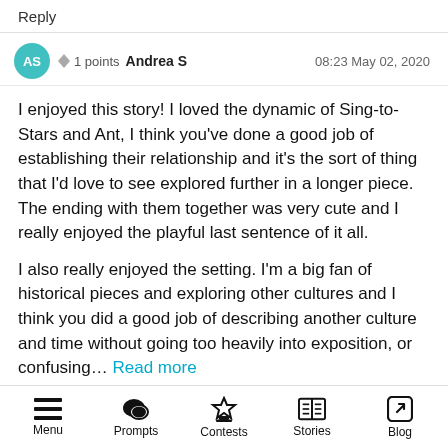Reply
AS  ▲ ▼ 1 points  Andrea S    08:23 May 02, 2020
I enjoyed this story! I loved the dynamic of Sing-to-Stars and Ant, I think you've done a good job of establishing their relationship and it's the sort of thing that I'd love to see explored further in a longer piece. The ending with them together was very cute and I really enjoyed the playful last sentence of it all.

I also really enjoyed the setting. I'm a big fan of historical pieces and exploring other cultures and I think you did a good job of describing another culture and time without going too heavily into exposition, or confusing... Read more
Menu  Prompts  Contests  Stories  Blog